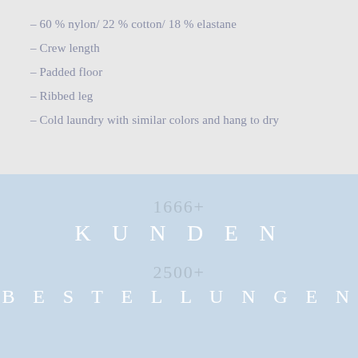– 60 % nylon/ 22 % cotton/ 18 % elastane
– Crew length
– Padded floor
– Ribbed leg
– Cold laundry with similar colors and hang to dry
1666+
KUNDEN
2500+
BESTELLUNGEN